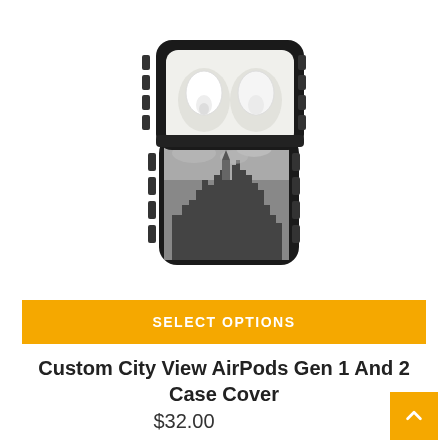[Figure (photo): AirPods Gen 1 and 2 case cover with a custom black and white city view (New York skyline) printed on the front. The case is open showing white AirPods inside, black rugged exterior with ribbed sides.]
SELECT OPTIONS
Custom City View AirPods Gen 1 And 2 Case Cover
$32.00